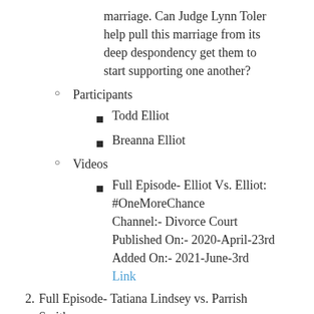marriage. Can Judge Lynn Toler help pull this marriage from its deep despondency get them to start supporting one another?
Participants
Todd Elliot
Breanna Elliot
Videos
Full Episode- Elliot Vs. Elliot: #OneMoreChance
Channel:- Divorce Court
Published On:- 2020-April-23rd
Added On:- 2021-June-3rd
Link
2. Full Episode- Tatiana Lindsey vs. Parrish Smith